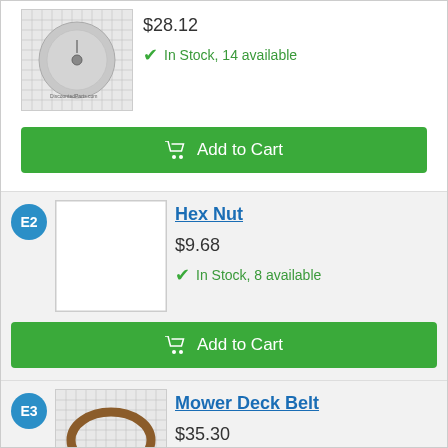$28.12
In Stock, 14 available
Add to Cart
E2
Hex Nut
$9.68
In Stock, 8 available
Add to Cart
E3
Mower Deck Belt
$35.30
In Stock, 25+ available